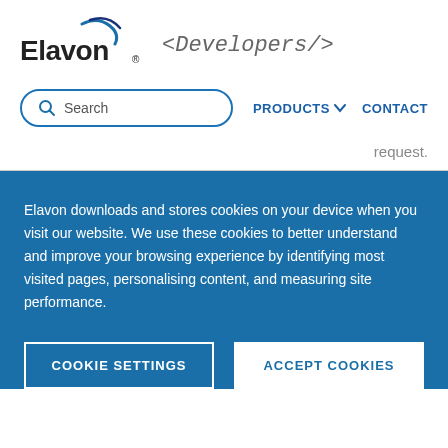[Figure (logo): Elavon logo with blue swoosh and Developers tag in monospace italic]
[Figure (screenshot): Navigation bar with search box, PRODUCTS dropdown, and CONTACT link]
request.
Elavon downloads and stores cookies on your device when you visit our website. We use these cookies to better understand and improve your browsing experience by identifying most visited pages, personalising content, and measuring site performance.
COOKIE SETTINGS
ACCEPT COOKIES